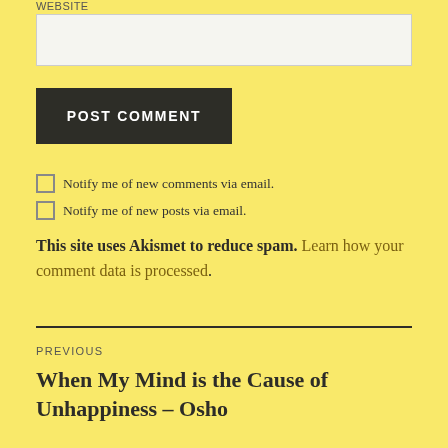WEBSITE
POST COMMENT
Notify me of new comments via email.
Notify me of new posts via email.
This site uses Akismet to reduce spam. Learn how your comment data is processed.
PREVIOUS
When My Mind is the Cause of Unhappiness – Osho